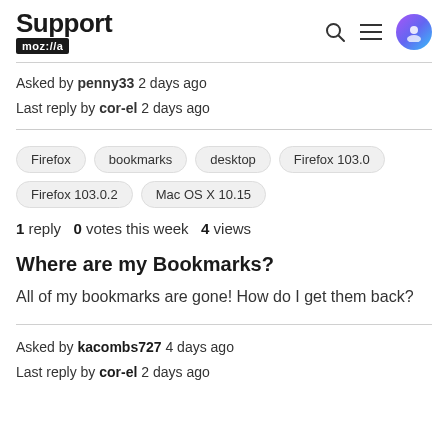Support mozilla// Asked by penny33 2 days ago Last reply by cor-el 2 days ago
Asked by penny33 2 days ago
Last reply by cor-el 2 days ago
Firefox  bookmarks  desktop  Firefox 103.0  Firefox 103.0.2  Mac OS X 10.15
1 reply  0 votes this week  4 views
Where are my Bookmarks?
All of my bookmarks are gone! How do I get them back?
Asked by kacombs727 4 days ago
Last reply by cor-el 2 days ago